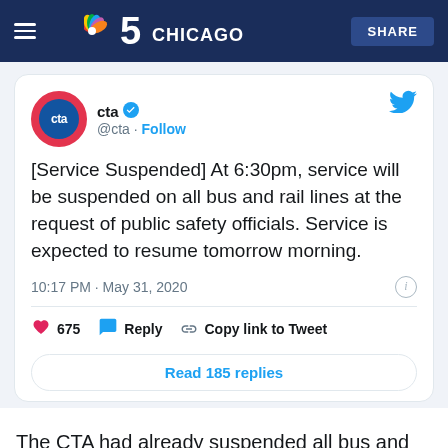NBC 5 Chicago | SHARE
[Figure (screenshot): Embedded tweet from @cta with CTA logo, verified badge, follow button, tweet text about service suspension, timestamp, likes, reply, copy link, and read replies button.]
The CTA had already suspended all bus and train service through the Loop in anticipation of more protests on Sunday,